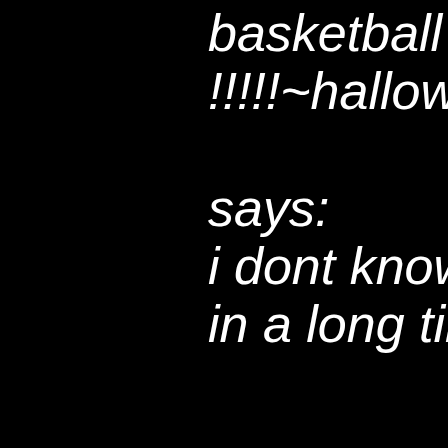basketball try !!!!!~hallowe says: i dont know i in a long time ψΈϮψ Pardo above the fla ·: